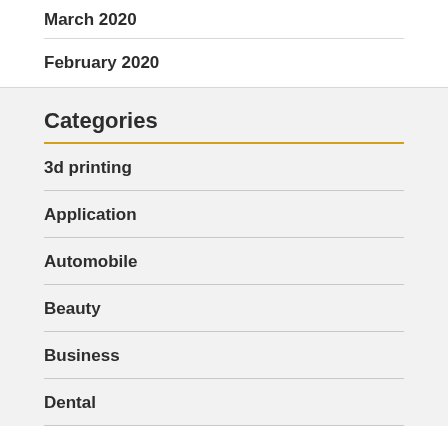March 2020
February 2020
Categories
3d printing
Application
Automobile
Beauty
Business
Dental